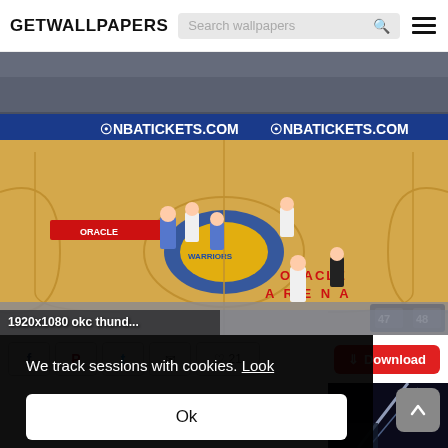GETWALLPAPERS  Search wallpapers
[Figure (screenshot): NBA 2K video game screenshot showing a basketball game at Oracle Arena between the Golden State Warriors and OKC Thunder. The court shows the Warriors logo at center court. Scoreboard shows 47-48. Banner ads read NBATICKETS.COM. Text overlay: 1920x1080 okc thund...]
1920x1080 okc thund...
Download
We track sessions with cookies. Look
Ok